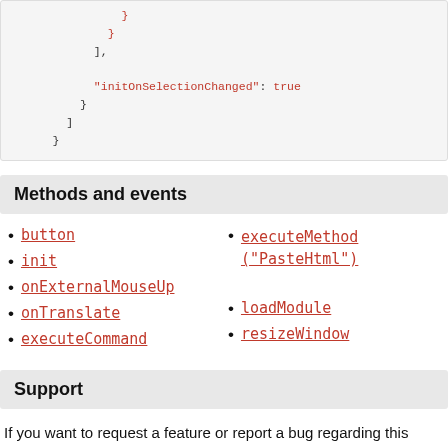[Figure (screenshot): Code block showing JSON with closing brackets, 'initOnSelectionChanged': true, and closing braces.]
Methods and events
button
init
onExternalMouseUp
onTranslate
executeCommand
executeMethod("PasteHtml")
loadModule
resizeWindow
Support
If you want to request a feature or report a bug regarding this plugin, use the issues section on GitHub.